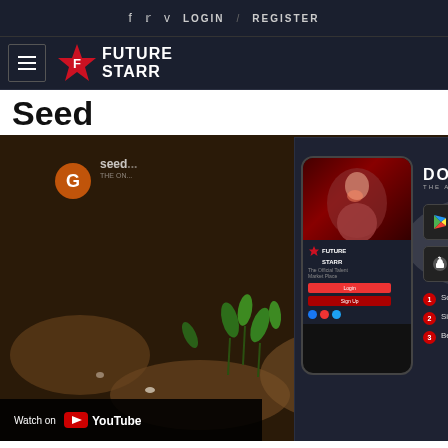f  twitter  v  LOGIN  /  REGISTER
[Figure (logo): Future Starr logo with star icon and hamburger menu]
Seed
[Figure (screenshot): Video thumbnail showing seed germination content with YouTube play button overlay, channel icon G, text 'ation, Stratificatio', and YouTube Watch on bar at bottom. An app download popup overlays the video showing Future Starr app download prompt with Google Play and App Store buttons, QR code, steps, and website www.futurestarr.com]
Watch on YouTube
d Germinati